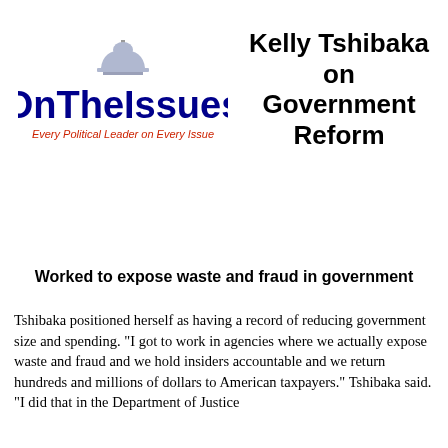[Figure (logo): OnTheIssues logo with dome graphic and tagline 'Every Political Leader on Every Issue']
Kelly Tshibaka on Government Reform
Worked to expose waste and fraud in government
Tshibaka positioned herself as having a record of reducing government size and spending. "I got to work in agencies where we actually expose waste and fraud and we hold insiders accountable and we return hundreds and millions of dollars to American taxpayers." Tshibaka said. "I did that in the Department of Justice